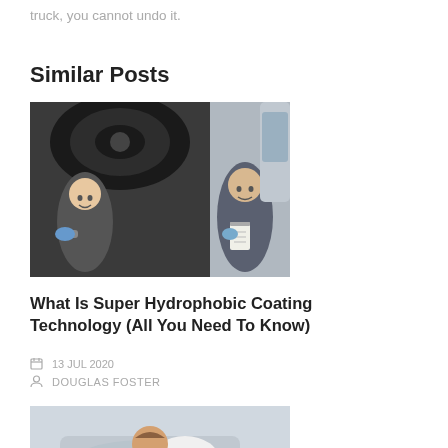truck, you cannot undo it.
Similar Posts
[Figure (photo): Two auto mechanics working under a lifted car, one holding a power tool and smiling, the other holding a clipboard, both in grey uniforms]
What Is Super Hydrophobic Coating Technology (All You Need To Know)
13 JUL 2020
DOUGLAS FOSTER
[Figure (photo): A man in a white t-shirt and blue overalls bending over to inspect or work on the headlight area of a silver car]